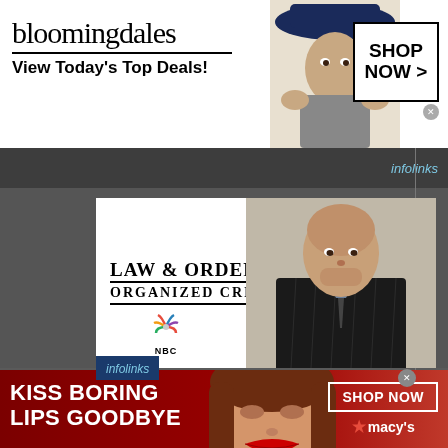[Figure (screenshot): Bloomingdales advertisement banner with logo, 'View Today's Top Deals!' tagline, model with blue hat, and 'SHOP NOW >' button]
[Figure (screenshot): Law & Order Organized Crime NBC promotional image with actor in suit and show title text]
infolinks
[Figure (screenshot): Macy's advertisement banner with 'KISS BORING LIPS GOODBYE' text, model with red lips, 'SHOP NOW' button and Macy's star logo]